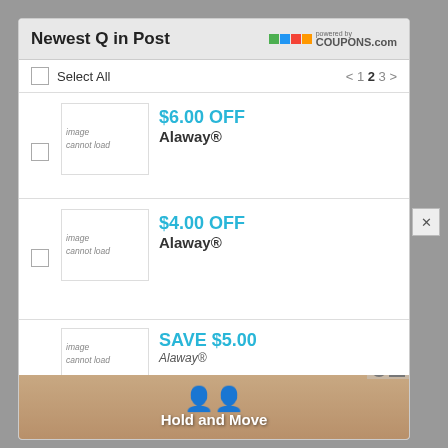Newest Q in Post
[Figure (logo): Coupons.com logo with colored squares and 'powered by COUPONS.com' text]
Select All
< 1 2 3 >
[Figure (other): image cannot load - broken image placeholder for Alaway coupon 1]
$6.00 OFF Alaway®
[Figure (other): image cannot load - broken image placeholder for Alaway coupon 2]
$4.00 OFF Alaway®
[Figure (other): image cannot load - broken image placeholder for Alaway coupon 3]
SAVE $5.00 Alaway®
[Figure (screenshot): Hold and Move advertisement banner with teal figures and sandy background]